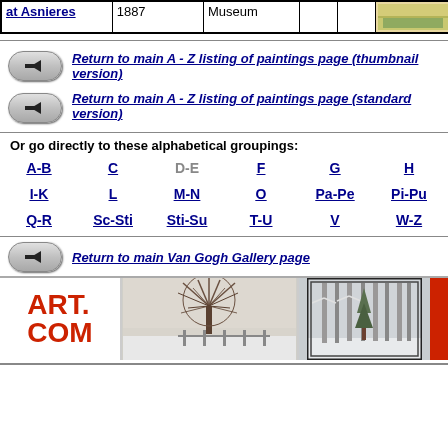| at Asnieres | 1887 | Museum |  |  |  |
| --- | --- | --- | --- | --- | --- |
Return to main A - Z listing of paintings page (thumbnail version)
Return to main A - Z listing of paintings page (standard version)
Or go directly to these alphabetical groupings:
A-B  C  D-E  F  G  H  I-K  L  M-N  O  Pa-Pe  Pi-Pu  Q-R  Sc-Sti  Sti-Su  T-U  V  W-Z
Return to main Van Gogh Gallery page
[Figure (photo): ART.COM advertisement banner with winter tree and forest images]